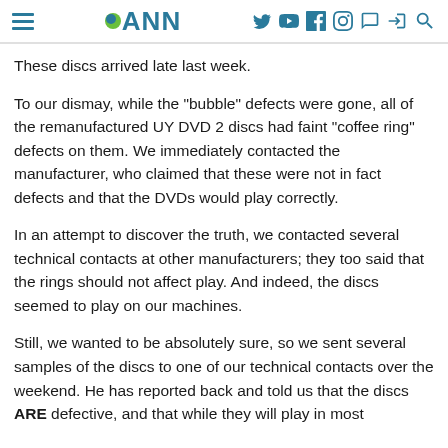ANN
These discs arrived late last week.
To our dismay, while the "bubble" defects were gone, all of the remanufactured UY DVD 2 discs had faint "coffee ring" defects on them. We immediately contacted the manufacturer, who claimed that these were not in fact defects and that the DVDs would play correctly.
In an attempt to discover the truth, we contacted several technical contacts at other manufacturers; they too said that the rings should not affect play. And indeed, the discs seemed to play on our machines.
Still, we wanted to be absolutely sure, so we sent several samples of the discs to one of our technical contacts over the weekend. He has reported back and told us that the discs ARE defective, and that while they will play in most